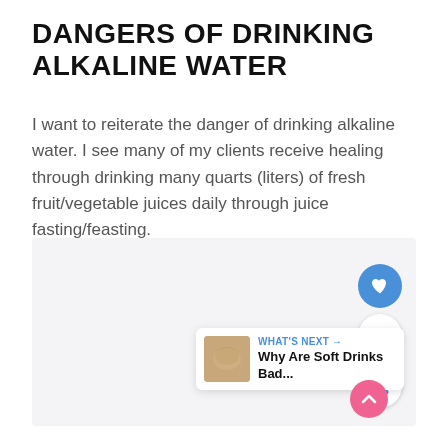DANGERS OF DRINKING ALKALINE WATER
I want to reiterate the danger of drinking alkaline water. I see many of my clients receive healing through drinking many quarts (liters) of fresh fruit/vegetable juices daily through juice fasting/feasting.
[Figure (screenshot): Embedded media/slideshow area with light gray background, navigation dots, like button (blue circle with heart icon), count of 1, share button, 'What's Next' widget showing 'Why Are Soft Drinks Bad...' article thumbnail, and pink back-to-top arrow button.]